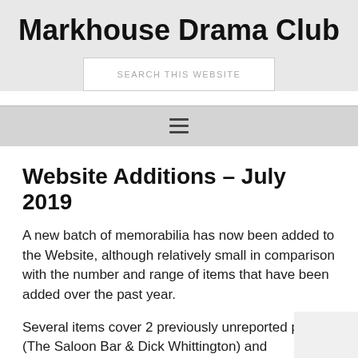Markhouse Drama Club
SEARCH THIS WEBSITE
[Figure (other): Hamburger menu icon (three horizontal lines)]
Website Additions – July 2019
A new batch of memorabilia has now been added to the Website, although relatively small in comparison with the number and range of items that have been added over the past year.
Several items cover 2 previously unreported plays (The Saloon Bar & Dick Whittington) and